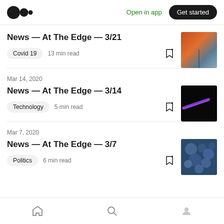Medium logo | Open in app | Get started
News — At The Edge — 3/21
Covid 19   13 min read
Mar 14, 2020
News — At The Edge — 3/14
Technology   5 min read
Mar 7, 2020
News — At The Edge — 3/7
Politics   6 min read
Home | Search | Profile